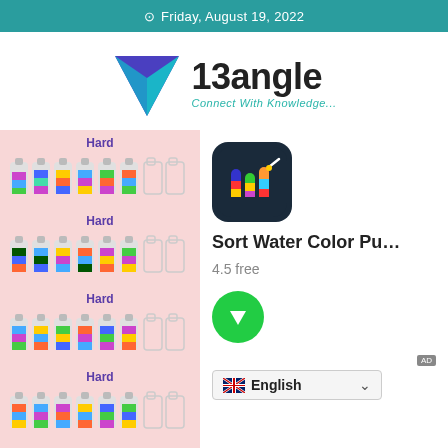Friday, August 19, 2022
[Figure (logo): 13angle logo with blue/teal triangle and text '13angle - Connect With Knowledge...']
[Figure (screenshot): Mobile app screenshot showing water bottle color sorting game with 'Hard' difficulty levels and colorful bottles on pink background]
[Figure (illustration): App icon for Sort Water Color Puzzle - dark background with colorful test tubes]
Sort Water Color Pu…
4.5 free
[Figure (illustration): Green circular download button with white arrow]
English